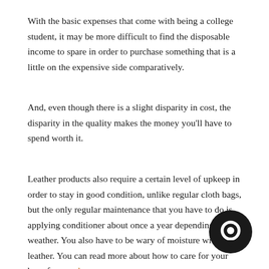With the basic expenses that come with being a college student, it may be more difficult to find the disposable income to spare in order to purchase something that is a little on the expensive side comparatively.
And, even though there is a slight disparity in cost, the disparity in the quality makes the money you'll have to spend worth it.
Leather products also require a certain level of upkeep in order to stay in good condition, unlike regular cloth bags, but the only regular maintenance that you have to do is applying conditioner about once a year depending on the weather. You also have to be wary of moisture with leather. You can read more about how to care for your bags from us here.